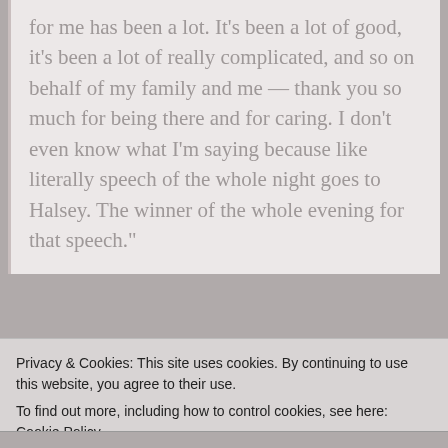for me has been a lot. It's been a lot of good, it's been a lot of really complicated, and so on behalf of my family and me — thank you so much for being there and for caring. I don't even know what I'm saying because like literally speech of the whole night goes to Halsey. The winner of the whole evening for that speech."
SHARE THIS:
Privacy & Cookies: This site uses cookies. By continuing to use this website, you agree to their use.
To find out more, including how to control cookies, see here: Cookie Policy